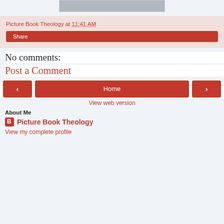[Figure (photo): Partial image visible at top of page, gray/dark area]
Picture Book Theology at 11:41 AM
Share
No comments:
Post a Comment
< Home >
View web version
About Me
Picture Book Theology
View my complete profile